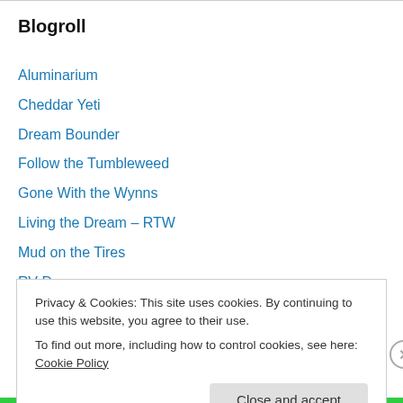Blogroll
Aluminarium
Cheddar Yeti
Dream Bounder
Follow the Tumbleweed
Gone With the Wynns
Living the Dream – RTW
Mud on the Tires
RV Dreams
Technomadia
Watsons Wander
Privacy & Cookies: This site uses cookies. By continuing to use this website, you agree to their use. To find out more, including how to control cookies, see here: Cookie Policy